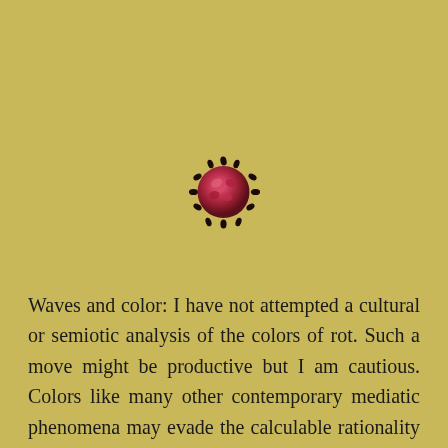[Figure (illustration): A small virus particle illustration, reddish-pink in color with dark spiky protrusions, centered in the upper portion of the page against a tan/olive background.]
Waves and color: I have not attempted a cultural or semiotic analysis of the colors of rot. Such a move might be productive but I am cautious. Colors like many other contemporary mediatic phenomena may evade the calculable rationality (Guyer 2008) of reasoned preparedness and prevention through what I have been framing as their self-referentiality under conditions of amplified address. Put simply: the colors